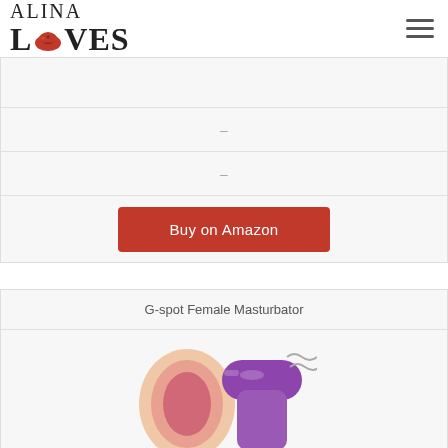ALINA LOVES
|  |
| - |
| - |
| Buy on Amazon |
G-spot Female Masturbator
[Figure (photo): Product image of G-spot Female Masturbator showing a flesh-colored masturbator and a purple vibrator device]